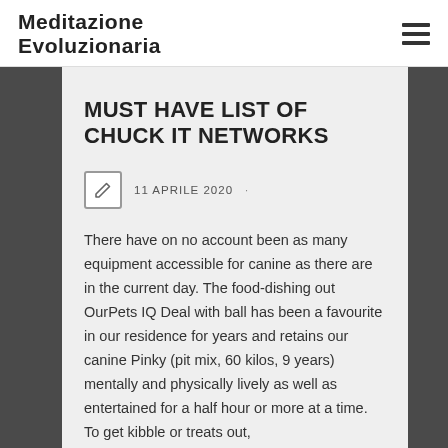Meditazione Evoluzionaria
MUST HAVE LIST OF CHUCK IT NETWORKS
11 APRILE 2020
There have on no account been as many equipment accessible for canine as there are in the current day. The food-dishing out OurPets IQ Deal with ball has been a favourite in our residence for years and retains our canine Pinky (pit mix, 60 kilos, 9 years) mentally and physically lively as well as entertained for a half hour or more at a time. To get kibble or treats out,